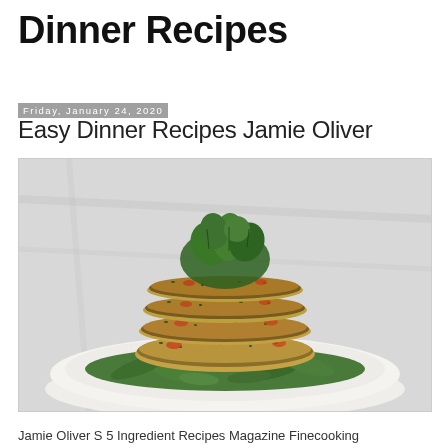Dinner Recipes
Friday, January 24, 2020
Easy Dinner Recipes Jamie Oliver
[Figure (photo): A stack of golden-brown herb fish/chicken cakes on a white plate, topped with fresh green herbs (cilantro/parsley), served on a bed of wild rocket/arugula leaves. Food photography on a marble surface.]
Jamie Oliver S 5 Ingredient Recipes Magazine Finecooking